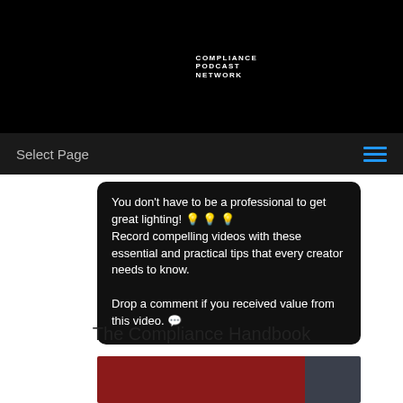[Figure (logo): Compliance Podcast Network logo: white C shape with text COMPLIANCE PODCAST NETWORK]
Select Page
You don't have to be a professional to get great lighting! 💡 💡 💡
Record compelling videos with these essential and practical tips that every creator needs to know.

Drop a comment if you received value from this video. 💬
The Compliance Handbook
[Figure (photo): Partial book cover image showing red and dark grey sections, bottom of page]